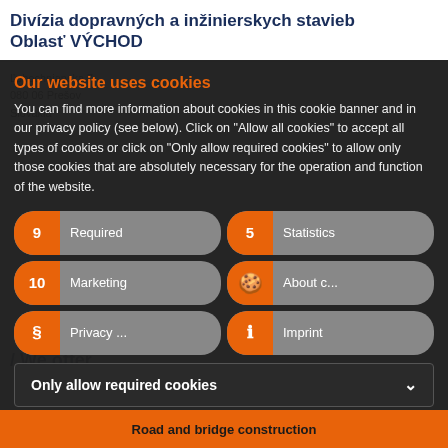Divízia dopravných a inžinierskych stavieb Oblasť VÝCHOD
Ľubochnianska 7
080 06 Prešov
Slovakia
Our website uses cookies
You can find more information about cookies in this cookie banner and in our privacy policy (see below). Click on "Allow all cookies" to accept all types of cookies or click on "Only allow required cookies" to allow only those cookies that are absolutely necessary for the operation and function of the website.
9 Required | 5 Statistics | 10 Marketing | About c... | Privacy ... | Imprint
Only allow required cookies
Allow all cookies
Road and bridge construction